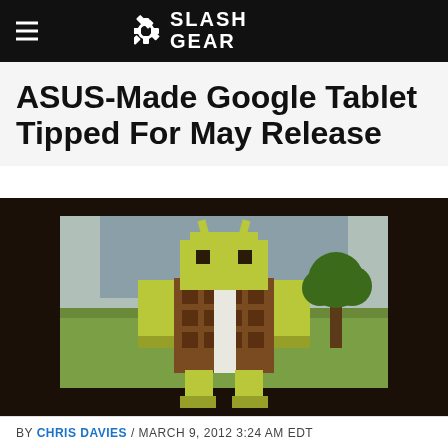SlashGear
ASUS-Made Google Tablet Tipped For May Release
[Figure (photo): Pixel-art Android mascot (Ice Cream Sandwich themed, chocolate/yellow blocky style) displayed on a framed tablet screen, set against an outdoor grassy background. The framed display sits on a table with chairs visible in the background.]
BY CHRIS DAVIES / MARCH 9, 2012 3:24 AM EDT